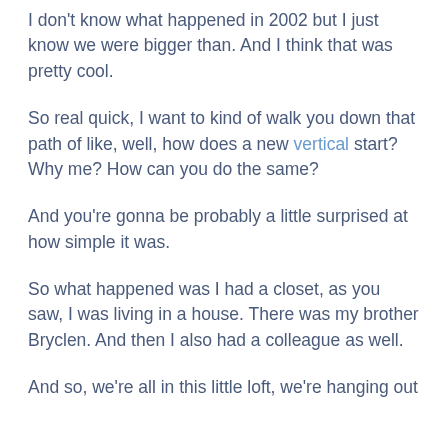I don't know what happened in 2002 but I just know we were bigger than. And I think that was pretty cool.
So real quick, I want to kind of walk you down that path of like, well, how does a new vertical start? Why me? How can you do the same?
And you're gonna be probably a little surprised at how simple it was.
So what happened was I had a closet, as you saw, I was living in a house. There was my brother Bryclen. And then I also had a colleague as well.
And so, we're all in this little loft, we're hanging out…